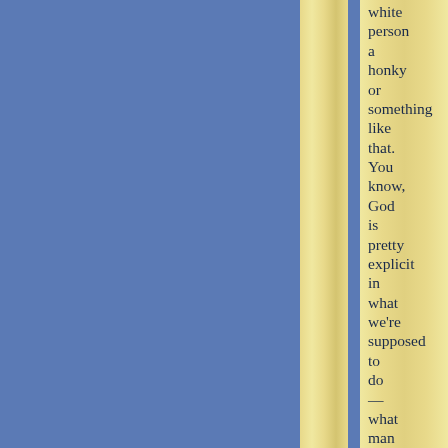white person a honky or something like that. You know, God is pretty explicit in what we're supposed to do — what man and woman are for. Now,